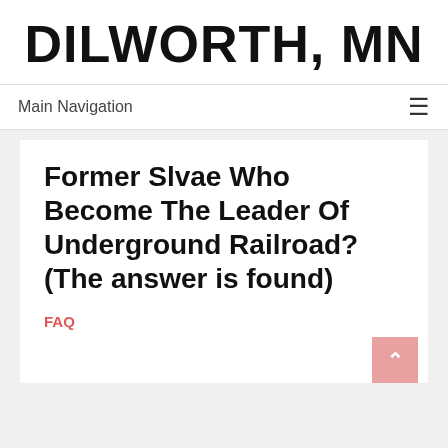DILWORTH, MN
Main Navigation
Former Slvae Who Become The Leader Of Underground Railroad? (The answer is found)
FAQ